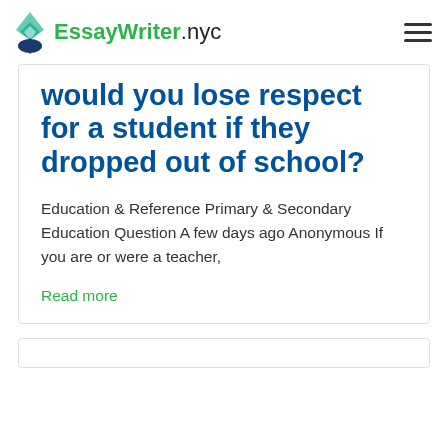EssayWriter.nyc
would you lose respect for a student if they dropped out of school?
Education & Reference Primary & Secondary Education Question A few days ago Anonymous If you are or were a teacher,
Read more